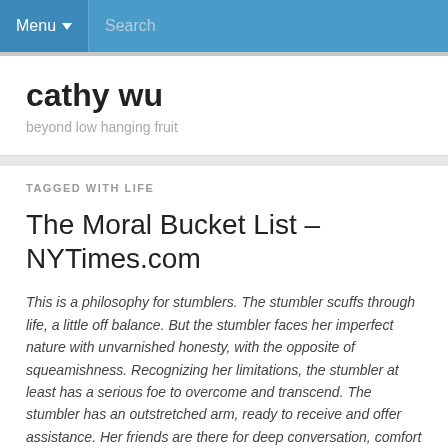Menu  Search
cathy wu
beyond low hanging fruit
TAGGED WITH LIFE
The Moral Bucket List – NYTimes.com
This is a philosophy for stumblers. The stumbler scuffs through life, a little off balance. But the stumbler faces her imperfect nature with unvarnished honesty, with the opposite of squeamishness. Recognizing her limitations, the stumbler at least has a serious foe to overcome and transcend. The stumbler has an outstretched arm, ready to receive and offer assistance. Her friends are there for deep conversation, comfort and advice.
…
The stumbler doesn't build her life by being better than others, but by